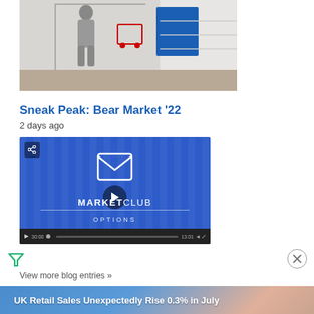[Figure (photo): Photo of a retail store entrance with a person walking, shopping carts visible in background]
Sneak Peak: Bear Market '22
2 days ago
[Figure (screenshot): Video thumbnail for MarketClub Options video about Bear Market '22, blue background with envelope logo, play button, and video controls bar]
View more blog entries »
[Figure (screenshot): News banner with headline: UK Retail Sales Unexpectedly Rise 0.3% in July]